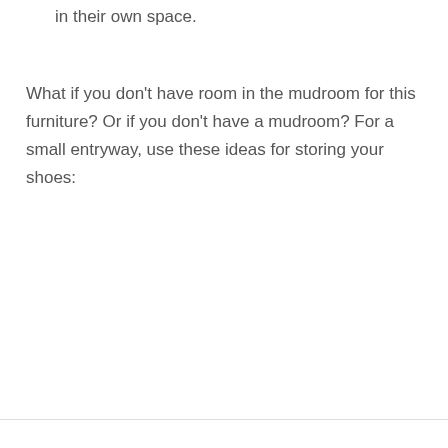in their own space.
What if you don't have room in the mudroom for this furniture? Or if you don't have a mudroom? For a small entryway, use these ideas for storing your shoes: